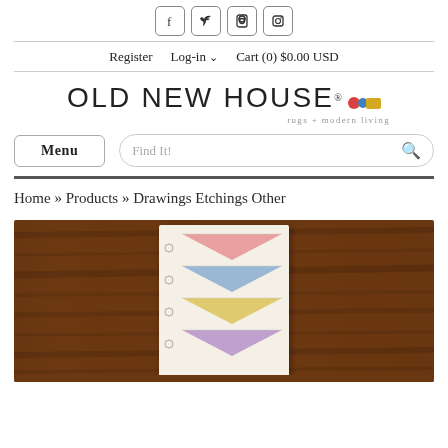[Figure (screenshot): Social media icons: Facebook, Twitter, Pinterest, Instagram in rounded square borders]
Register   Log-in ∨   Cart (0) $0.00 USD
[Figure (logo): Old New House logo with colored dots and tagline 'rugs + modern living']
[Figure (screenshot): Menu button and Find It! search bar with magnifying glass icon]
Home » Products » Drawings Etchings Other
[Figure (photo): Product photo showing colorful triangle/envelope shapes on cream paper card, placed on dark wood surface]